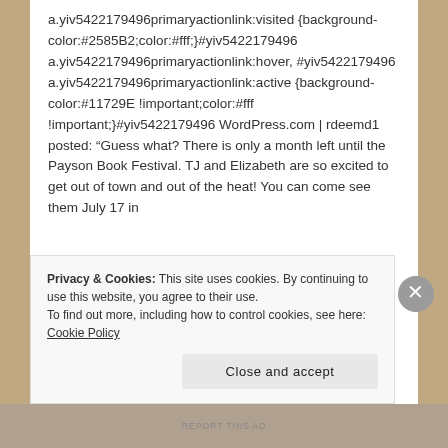a.yiv5422179496primaryactionlink:visited {background-color:#2585B2;color:#fff;}#yiv5422179496 a.yiv5422179496primaryactionlink:hover, #yiv5422179496 a.yiv5422179496primaryactionlink:active {background-color:#11729E !important;color:#fff !important;}#yiv5422179496 WordPress.com | rdeemd1 posted: “Guess what? There is only a month left until the Payson Book Festival. TJ and Elizabeth are so excited to get out of town and out of the heat! You can come see them July 17 in
Privacy & Cookies: This site uses cookies. By continuing to use this website, you agree to their use.
To find out more, including how to control cookies, see here: Cookie Policy
Close and accept